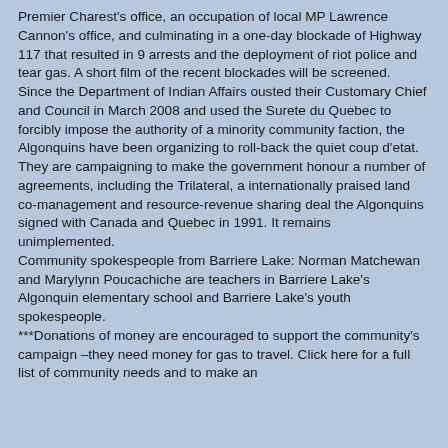Premier Charest's office, an occupation of local MP Lawrence Cannon's office, and culminating in a one-day blockade of Highway 117 that resulted in 9 arrests and the deployment of riot police and tear gas. A short film of the recent blockades will be screened.
Since the Department of Indian Affairs ousted their Customary Chief and Council in March 2008 and used the Surete du Quebec to forcibly impose the authority of a minority community faction, the Algonquins have been organizing to roll-back the quiet coup d'etat. They are campaigning to make the government honour a number of agreements, including the Trilateral, a internationally praised land co-management and resource-revenue sharing deal the Algonquins signed with Canada and Quebec in 1991. It remains unimplemented.
Community spokespeople from Barriere Lake: Norman Matchewan and Marylynn Poucachiche are teachers in Barriere Lake's Algonquin elementary school and Barriere Lake's youth spokespeople.
***Donations of money are encouraged to support the community's campaign –they need money for gas to travel. Click here for a full list of community needs and to make an